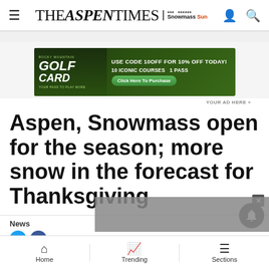THE ASPEN TIMES | Snowmass Sun
[Figure (other): Rocky Mountain Golf Card advertisement banner: USE CODE 10OFF FOR 10% OFF TODAY! 10 ICONIC COURSES 1 PASS - Click Here To Purchase]
YOUR AD HERE »
Aspen, Snowmass open for the season; more snow in the forecast for Thanksgiving
News
Home | Trending | Sections